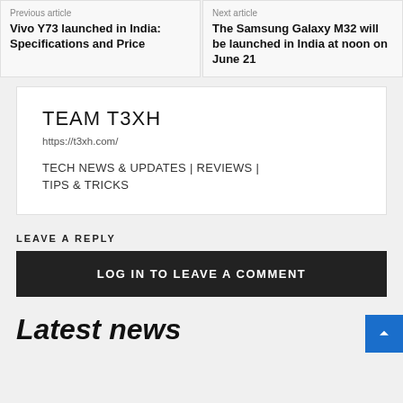Previous article
Vivo Y73 launched in India: Specifications and Price
Next article
The Samsung Galaxy M32 will be launched in India at noon on June 21
TEAM T3XH
https://t3xh.com/
TECH NEWS & UPDATES | REVIEWS | TIPS & TRICKS
LEAVE A REPLY
LOG IN TO LEAVE A COMMENT
Latest news